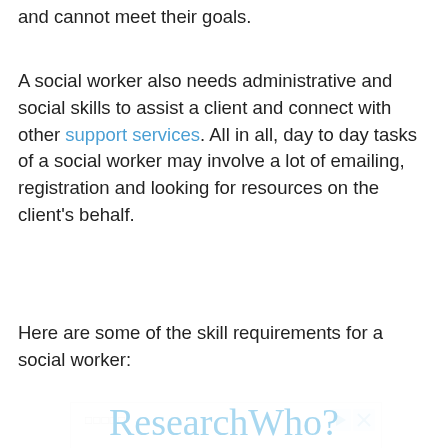and cannot meet their goals.
A social worker also needs administrative and social skills to assist a client and connect with other support services. All in all, day to day tasks of a social worker may involve a lot of emailing, registration and looking for resources on the client's behalf.
Here are some of the skill requirements for a social worker:
[Figure (other): Advertisement box with play and close icons, a divider line, and several placeholder rectangles arranged in the lower right area.]
ResearchWho?